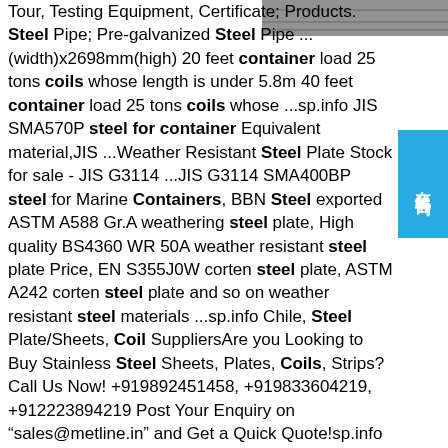[Figure (photo): Partial image of steel plates or coils, dark grey metallic surface, top right corner]
Tour, Testing Equipment, Certificate; Products. Steel Pipe; Pre-galvanized Steel Pipe ... (width)x2698mm(high) 20 feet container load 25 tons coils whose length is under 5.8m 40 feet container load 25 tons coils whose ...sp.info JIS SMA570P steel for container Equivalent material,JIS ...Weather Resistant Steel Plate Stock for sale - JIS G3114 ...JIS G3114 SMA400BP steel for Marine Containers, BBN Steel exported ASTM A588 Gr.A weathering steel plate, High quality BS4360 WR 50A weather resistant steel plate Price, EN S355J0W corten steel plate, ASTM A242 corten steel plate and so on weather resistant steel materials ...sp.info Chile, Steel Plate/Sheets, Coil SuppliersAre you Looking to Buy Stainless Steel Sheets, Plates, Coils, Strips? Call Us Now! +919892451458, +919833604219, +912223894219 Post Your Enquiry on “salesmétline.in” and Get a Quick Quote!sp.info carbon structural steel plate s355j2n hot rolled steel ...Q235 Q345 hot rolled steel coil, 302 hr